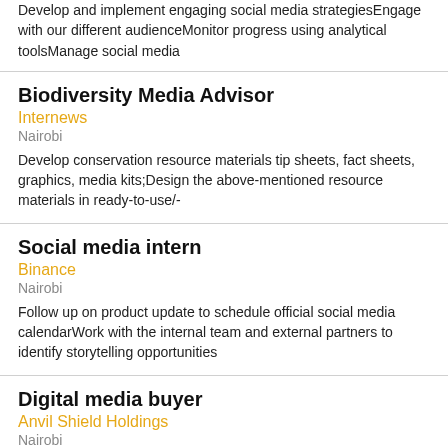Develop and implement engaging social media strategiesEngage with our different audienceMonitor progress using analytical toolsManage social media
Biodiversity Media Advisor
Internews
Nairobi
Develop conservation resource materials tip sheets, fact sheets, graphics, media kits;Design the above-mentioned resource materials in ready-to-use/-
Social media intern
Binance
Nairobi
Follow up on product update to schedule official social media calendarWork with the internal team and external partners to identify storytelling opportunities
Digital media buyer
Anvil Shield Holdings
Nairobi
Manage the strategy and setup of all paid campaigns.Measure and optimize our paid marketing using vendor-specific dashboards, Google Analytics, and
Social Media Marketing Associate
Alika Adventures